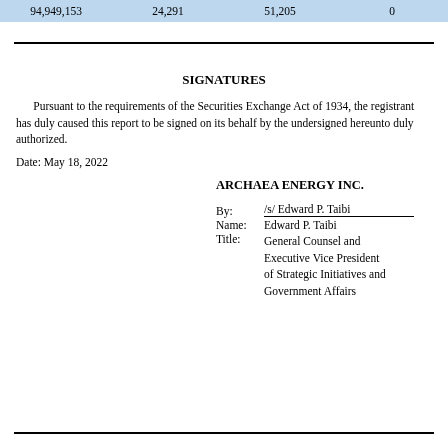| 94,949,153 | 24,291 | 51,205 | 0 |
SIGNATURES
Pursuant to the requirements of the Securities Exchange Act of 1934, the registrant has duly caused this report to be signed on its behalf by the undersigned hereunto duly authorized.
Date: May 18, 2022
ARCHAEA ENERGY INC.

By: /s/ Edward P. Taibi
Name: Edward P. Taibi
Title: General Counsel and Executive Vice President of Strategic Initiatives and Government Affairs